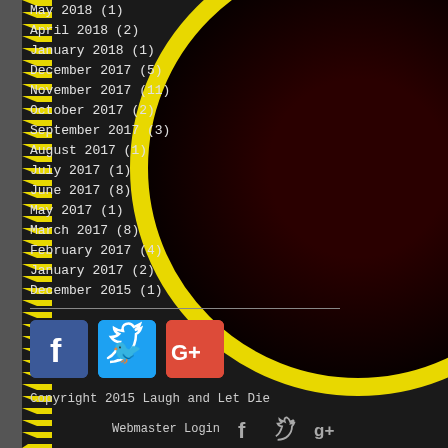May 2018 (1)
April 2018 (2)
January 2018 (1)
December 2017 (5)
November 2017 (11)
October 2017 (2)
September 2017 (3)
August 2017 (1)
July 2017 (1)
June 2017 (8)
May 2017 (1)
March 2017 (8)
February 2017 (4)
January 2017 (2)
December 2015 (1)
[Figure (logo): Social media icons: Facebook (blue), Twitter (blue), Google+ (red-orange)]
Copyright 2015 Laugh and Let Die
Webmaster Login